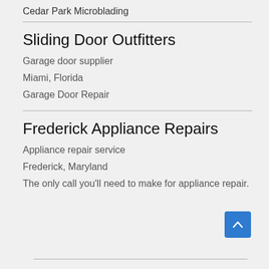Cedar Park Microblading
Sliding Door Outfitters
Garage door supplier
Miami, Florida
Garage Door Repair
Frederick Appliance Repairs
Appliance repair service
Frederick, Maryland
The only call you'll need to make for appliance repair.